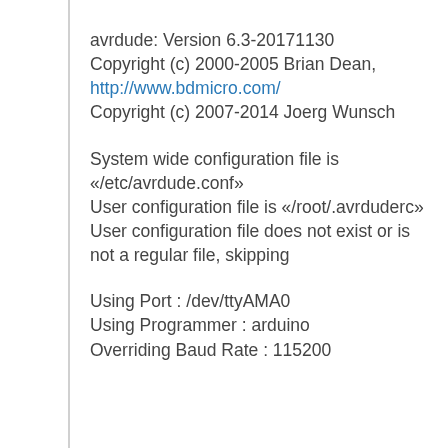avrdude: Version 6.3-20171130
Copyright (c) 2000-2005 Brian Dean,
http://www.bdmicro.com/
Copyright (c) 2007-2014 Joerg Wunsch
System wide configuration file is «/etc/avrdude.conf»
User configuration file is «/root/.avrduderc»
User configuration file does not exist or is not a regular file, skipping
Using Port : /dev/ttyAMA0
Using Programmer : arduino
Overriding Baud Rate : 115200